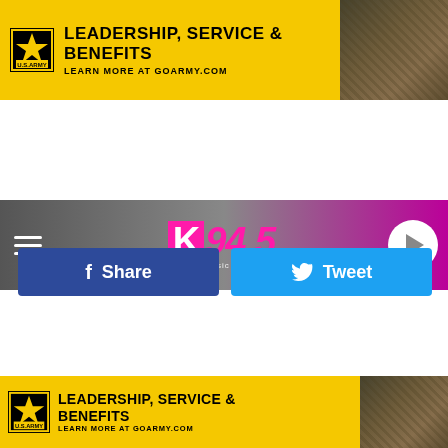[Figure (screenshot): U.S. Army advertisement banner with yellow background. Text reads LEADERSHIP, SERVICE & BENEFITS LEARN MORE AT GOARMY.COM with soldier photo on right.]
[Figure (logo): K94.5 #1 hit music channel radio station logo in pink/magenta with navigation hamburger menu and play button.]
LISTEN NOW ▶  POPCRUSH NIGHTS
[Figure (screenshot): Facebook Share button (blue) and Twitter Tweet button (cyan) side by side.]
[Figure (photo): U.S. Army advertisement with soldier in camouflage at keyboard on left, U.S. Army logo (star in black/yellow square) on right.]
WHAT DOES IT TAKE TO GET A GOOD NIGHT'S SLEEP,
[Figure (screenshot): U.S. Army advertisement banner at bottom. Text reads LEADERSHIP, SERVICE & BENEFITS LEARN MORE AT GOARMY.COM.]